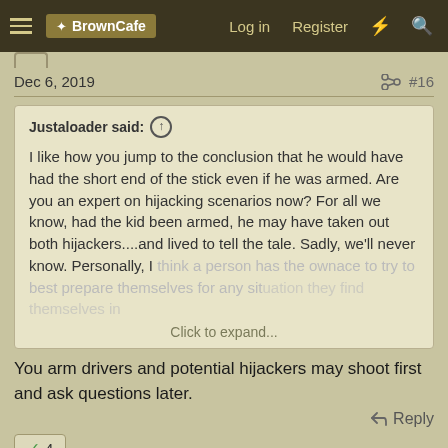BrownCafe — Log in   Register
Dec 6, 2019   #16
Justaloader said: ↑

I like how you jump to the conclusion that he would have had the short end of the stick even if he was armed. Are you an expert on hijacking scenarios now? For all we know, had the kid been armed, he may have taken out both hijackers....and lived to tell the tale. Sadly, we'll never know. Personally, I think a person has the ownace to try to best prepare themselves for any situation they find themselves in

Click to expand...
You arm drivers and potential hijackers may shoot first and ask questions later.
Reply
✓ 4